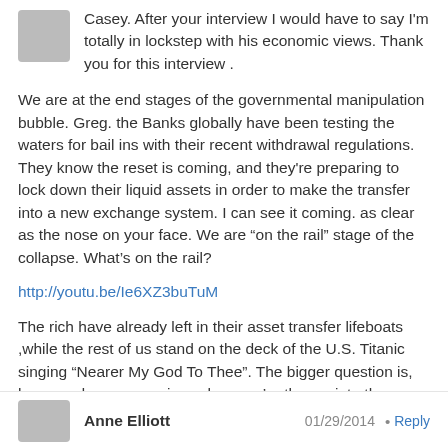Casey. After your interview I would have to say I'm totally in lockstep with his economic views. Thank you for this interview .
We are at the end stages of the governmental manipulation bubble. Greg. the Banks globally have been testing the waters for bail ins with their recent withdrawal regulations. They know the reset is coming, and they're preparing to lock down their liquid assets in order to make the transfer into a new exchange system. I can see it coming. as clear as the nose on your face. We are “on the rail” stage of the collapse. What’s on the rail?
http://youtu.be/Ie6XZ3buTuM
The rich have already left in their asset transfer lifeboats ,while the rest of us stand on the deck of the U.S. Titanic singing “Nearer My God To Thee”. The bigger question is, how good can you swim , when you’re thrown into the cesspool of economic debris ?
Anne Elliott    01/29/2014 • Reply